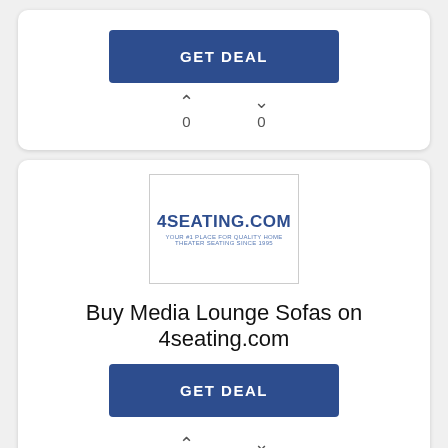GET DEAL
0  0
[Figure (logo): 4SEATING.COM logo in a bordered box]
Buy Media Lounge Sofas on 4seating.com
GET DEAL
^ v